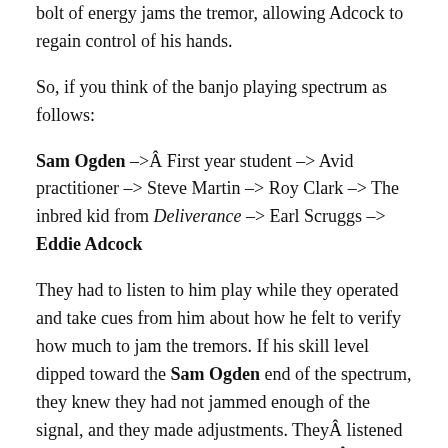bolt of energy jams the tremor, allowing Adcock to regain control of his hands.
So, if you think of the banjo playing spectrum as follows:
Sam Ogden –>Â First year student –> Avid practitioner –> Steve Martin –> Roy Clark –> The inbred kid from Deliverance –> Earl Scruggs –> Eddie Adcock
They had to listen to him play while they operated and take cues from him about how he felt to verify how much to jam the tremors. If his skill level dipped toward the Sam Ogden end of the spectrum, they knew they had not jammed enough of the signal, and they made adjustments. TheyÂ listened to him play and adjusted the settings untilÂ they zeroed in on the Eddie Adcock end of the spectrum, and then set the energy-emitting device at that